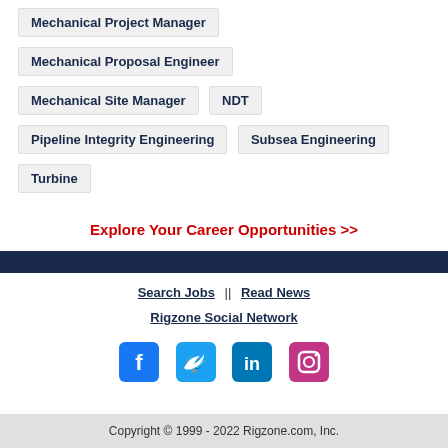Mechanical Project Manager
Mechanical Proposal Engineer
Mechanical Site Manager
NDT
Pipeline Integrity Engineering
Subsea Engineering
Turbine
Explore Your Career Opportunities >>
Search Jobs || Read News
Rigzone Social Network
[Figure (infographic): Social media icons: Facebook, Twitter, LinkedIn, Instagram]
Copyright © 1999 - 2022 Rigzone.com, Inc.